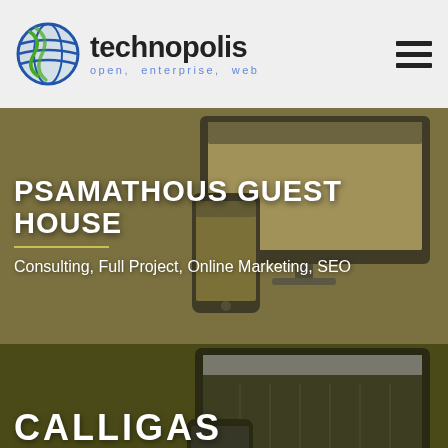technopolis open. enterprise. web
PSAMATHOUS GUEST HOUSE
Consulting, Full Project, Online Marketing, SEO
[Figure (screenshot): Website mockup showing Psamathous Guest House site on desktop and mobile devices, olive/gold tinted background]
CALLIGAS
Consulting, Full Project, SEO
[Figure (screenshot): Website mockup showing Calligas site on desktop and mobile devices, dark olive tinted background]